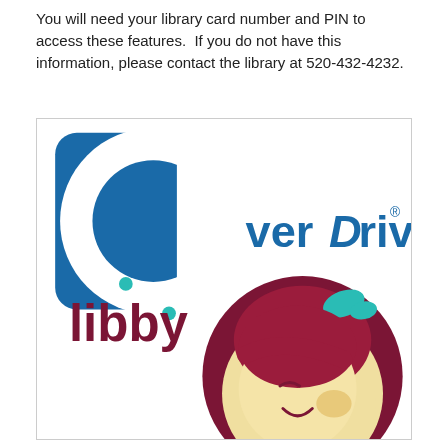You will need your library card number and PIN to access these features.  If you do not have this information, please contact the library at 520-432-4232.
[Figure (logo): OverDrive logo (blue rounded square with C-shaped cutout and circular element forming the letter O, with 'verDrive' text in blue) and Libby logo (dark red 'libby' wordmark with a teal dot above the i, alongside a circular illustration of a cartoon girl with red hair and a teal bow)]